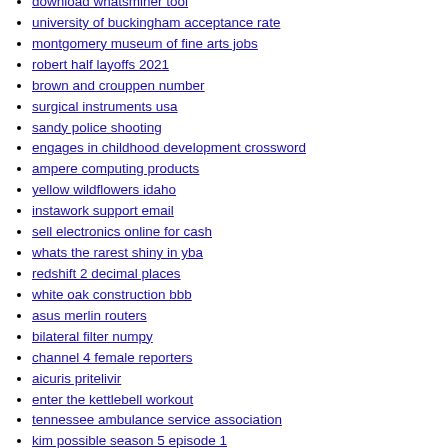download whatsminer tool
university of buckingham acceptance rate
montgomery museum of fine arts jobs
robert half layoffs 2021
brown and crouppen number
surgical instruments usa
sandy police shooting
engages in childhood development crossword
ampere computing products
yellow wildflowers idaho
instawork support email
sell electronics online for cash
whats the rarest shiny in yba
redshift 2 decimal places
white oak construction bbb
asus merlin routers
bilateral filter numpy
channel 4 female reporters
aicuris pritelivir
enter the kettlebell workout
tennessee ambulance service association
kim possible season 5 episode 1
fabric cup cozy
alprazolam trade name in india
how much does it cost to play bingo at kentucky downs